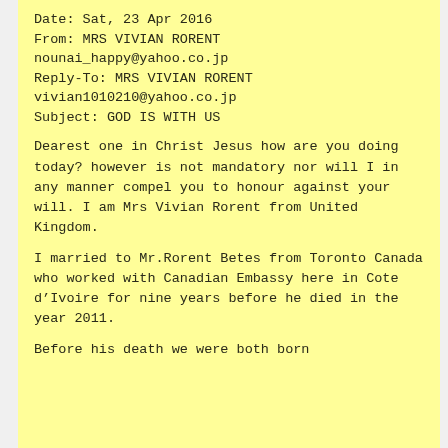Date: Sat, 23 Apr 2016
From: MRS VIVIAN RORENT
nounai_happy@yahoo.co.jp
Reply-To: MRS VIVIAN RORENT
vivian1010210@yahoo.co.jp
Subject: GOD IS WITH US
Dearest one in Christ Jesus how are you doing today? however is not mandatory nor will I in any manner compel you to honour against your will. I am Mrs Vivian Rorent from United Kingdom.
I married to Mr.Rorent Betes from Toronto Canada who worked with Canadian Embassy here in Cote d’Ivoire for nine years before he died in the year 2011.
Before his death we were both born